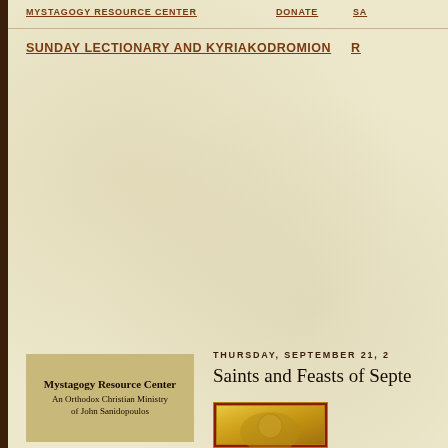MYSTAGOGY RESOURCE CENTER    DONATE    SA
SUNDAY LECTIONARY AND KYRIAKODROMION    R
[Figure (logo): Mystagogy Resource Center logo box - tan/gold background with text: 'Mystagogy Resource Center' bold, 'An Orthodox Christian Ministry of John Sanidopoulos']
THURSDAY, SEPTEMBER 21, 2
Saints and Feasts of Septe
[Figure (photo): Orthodox icon with gold background, partially visible at bottom right of page]